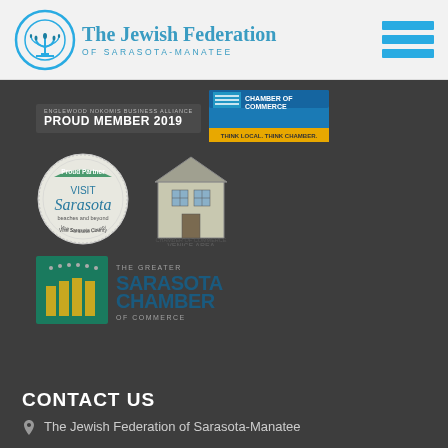[Figure (logo): The Jewish Federation of Sarasota-Manatee logo with menorah icon and text]
[Figure (logo): Hamburger menu icon (three horizontal blue bars)]
[Figure (logo): Proud Member 2019 badge]
[Figure (logo): Chamber of Commerce logo - Think Local, Think Chamber]
[Figure (logo): Visit Sarasota - Proud Partner circular badge]
[Figure (logo): Venice Area Chamber of Commerce logo]
[Figure (logo): The Sarasota Chamber of Commerce logo]
CONTACT US
The Jewish Federation of Sarasota-Manatee